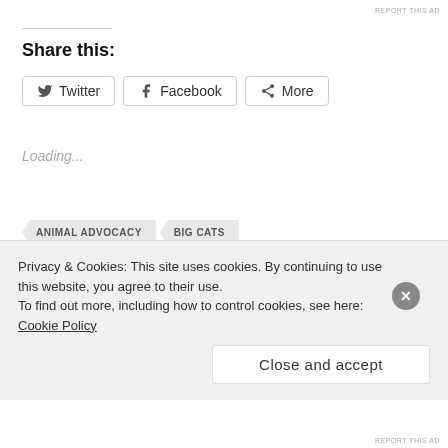REPORT THIS AD
Share this:
[Figure (infographic): Social share buttons: Twitter, Facebook, More]
Loading...
ANIMAL ADVOCACY
BIG CATS
BLACK JAGUAR WHITE TIGER
CAPTIVE WILD ANIMALS
CAPTIVITY PERFORMANCE EDUCATION
Privacy & Cookies: This site uses cookies. By continuing to use this website, you agree to their use. To find out more, including how to control cookies, see here: Cookie Policy
Close and accept
REPORT THIS AD